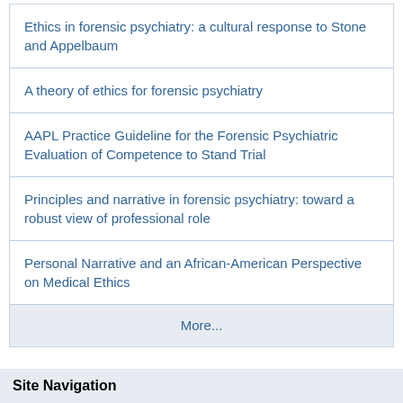Ethics in forensic psychiatry: a cultural response to Stone and Appelbaum
A theory of ethics for forensic psychiatry
AAPL Practice Guideline for the Forensic Psychiatric Evaluation of Competence to Stand Trial
Principles and narrative in forensic psychiatry: toward a robust view of professional role
Personal Narrative and an African-American Perspective on Medical Ethics
More...
Site Navigation